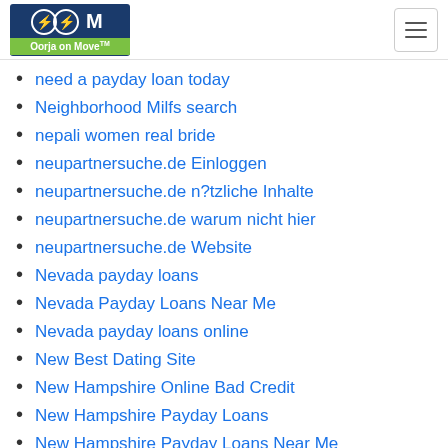Oorja on Move
need a payday loan today
Neighborhood Milfs search
nepali women real bride
neupartnersuche.de Einloggen
neupartnersuche.de n?tzliche Inhalte
neupartnersuche.de warum nicht hier
neupartnersuche.de Website
Nevada payday loans
Nevada Payday Loans Near Me
Nevada payday loans online
New Best Dating Site
New Hampshire Online Bad Credit
New Hampshire Payday Loans
New Hampshire Payday Loans Near Me
New Jersey Personal Loans
New Jersey Personal Loans Near Me